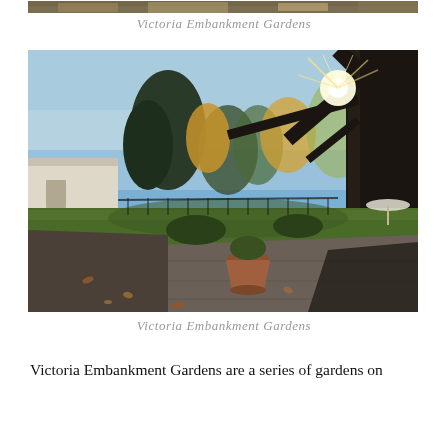[Figure (photo): Partial top strip of a garden photo showing autumn foliage]
Victoria Embankment Gardens
[Figure (photo): Victoria Embankment Gardens in autumn: large bare trees, sunburst through branches, green lawn, terracotta pot, paved path with fallen leaves, bright blue sky]
Victoria Embankment Gardens
Victoria Embankment Gardens are a series of gardens on